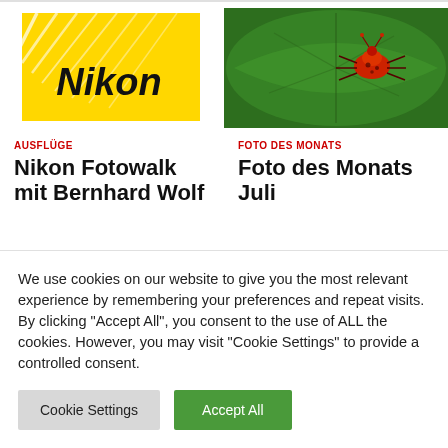[Figure (logo): Nikon logo on yellow background]
[Figure (photo): Close-up photo of a red insect/spider mite on a green leaf]
AUSFLÜGE
Nikon Fotowalk mit Bernhard Wolf
FOTO DES MONATS
Foto des Monats Juli
We use cookies on our website to give you the most relevant experience by remembering your preferences and repeat visits. By clicking "Accept All", you consent to the use of ALL the cookies. However, you may visit "Cookie Settings" to provide a controlled consent.